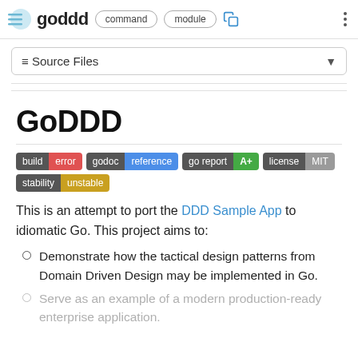goddd  command  module
≡ Source Files
GoDDD
[Figure (infographic): Badges: build error, godoc reference, go report A+, license MIT, stability unstable]
This is an attempt to port the DDD Sample App to idiomatic Go. This project aims to:
Demonstrate how the tactical design patterns from Domain Driven Design may be implemented in Go.
Serve as an example of a modern production-ready enterprise application.